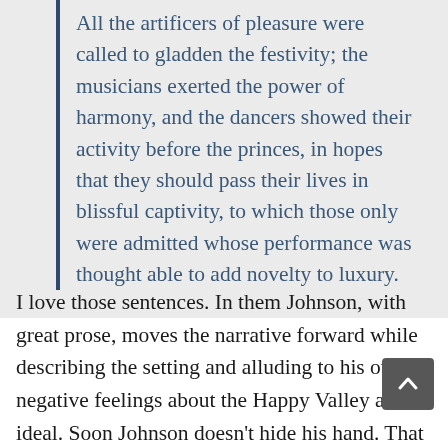All the artificers of pleasure were called to gladden the festivity; the musicians exerted the power of harmony, and the dancers showed their activity before the princes, in hopes that they should pass their lives in blissful captivity, to which those only were admitted whose performance was thought able to add novelty to luxury.
I love those sentences. In them Johnson, with great prose, moves the narrative forward while describing the setting and alluding to his own negative feelings about the Happy Valley as an ideal. Soon Johnson doesn't hide his hand. That this place is beautiful but dead for humans becomes apparent when Rasselas is introduced. In ruminating about his state of being...